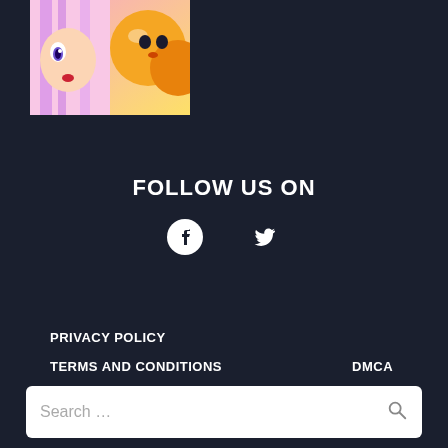[Figure (illustration): Partial anime-style illustration showing a character with pink/purple hair and an orange round character, cropped at top-left]
FOLLOW US ON
[Figure (logo): Facebook logo icon (white circle-f)]
[Figure (logo): Twitter bird logo icon (white)]
PRIVACY POLICY
TERMS AND CONDITIONS
DMCA
SITEMAP
© 2022 Art4Gamez
Search ...